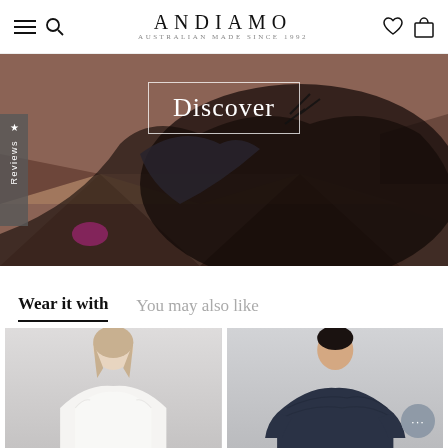ANDIAMO — AUSTRALIAN MADE SINCE 1992
[Figure (photo): Hero banner showing a person in black activewear doing a yoga/stretch pose on a geometric patterned wooden floor, with a white-bordered 'Discover' text overlay and a Reviews tab on the left side]
Wear it with
You may also like
[Figure (photo): Product photo of a woman wearing a white sleeveless top, shown from shoulders up against a light grey background]
[Figure (photo): Product photo of a woman wearing a dark navy patterned long-sleeve top, shown from shoulders up against a light grey background]